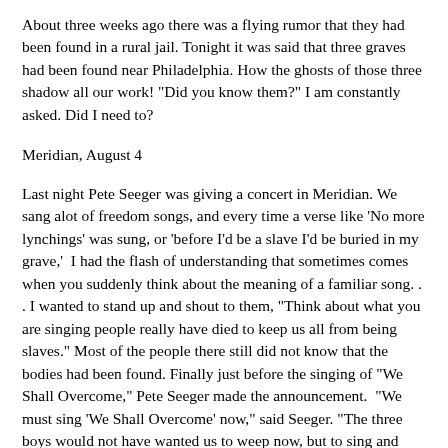About three weeks ago there was a flying rumor that they had been found in a rural jail. Tonight it was said that three graves had been found near Philadelphia. How the ghosts of those three shadow all our work! "Did you know them?" I am constantly asked. Did I need to?
Meridian, August 4
Last night Pete Seeger was giving a concert in Meridian. We sang alot of freedom songs, and every time a verse like 'No more lynchings' was sung, or 'before I'd be a slave I'd be buried in my grave,'  I had the flash of understanding that sometimes comes when you suddenly think about the meaning of a familiar song. . . I wanted to stand up and shout to them, "Think about what you are singing people really have died to keep us all from being slaves." Most of the people there still did not know that the bodies had been found. Finally just before the singing of "We Shall Overcome," Pete Seeger made the announcement.  "We must sing 'We Shall Overcome' now," said Seeger. "The three boys would not have wanted us to weep now, but to sing and understand this song." That seems to me the best way to explain the greatness of this project - that death can have this meaning. Dying is not an ever present possibility in Meridian, the way some reports may suggest. Nor do any of us want to die. Yet in a moment like last night, we can feel that anyone who did die for the Project would wish to be